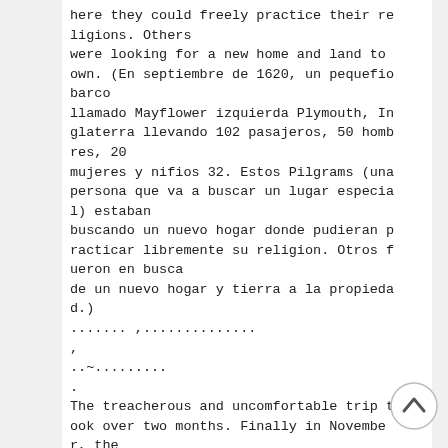here they could freely practice their religions. Others were looking for a new home and land to own. (En septiembre de 1620, un pequeño barco llamado Mayflower izquierda Plymouth, Inglaterra llevando 102 pasajeros, 50 hombres, 20 mujeres y nifios 32. Estos Pilgrams (una persona que va a buscar un lugar especial) estaban buscando un nuevo hogar donde pudieran practicar libremente su religion. Otros fueron en busca de un nuevo hogar y tierra a la propiedad.)
....... ,.............
,
..~.........
.
The treacherous and uncomfortable trip took over two months. Finally in November, the Mayflower sighted land, which was presen
[Figure (other): A circular scroll-to-top button with an upward-pointing chevron arrow, positioned in the bottom right corner.]